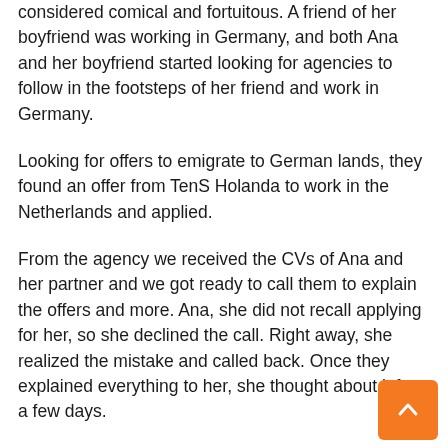considered comical and fortuitous. A friend of her boyfriend was working in Germany, and both Ana and her boyfriend started looking for agencies to follow in the footsteps of her friend and work in Germany.
Looking for offers to emigrate to German lands, they found an offer from TenS Holanda to work in the Netherlands and applied.
From the agency we received the CVs of Ana and her partner and we got ready to call them to explain the offers and more. Ana, she did not recall applying for her, so she declined the call. Right away, she realized the mistake and called back. Once they explained everything to her, she thought about it for a few days.
Luckily, Ana found an acquaintance who had gon with our agency to work in Holland and this perso gave her confidence to make the decision to live th